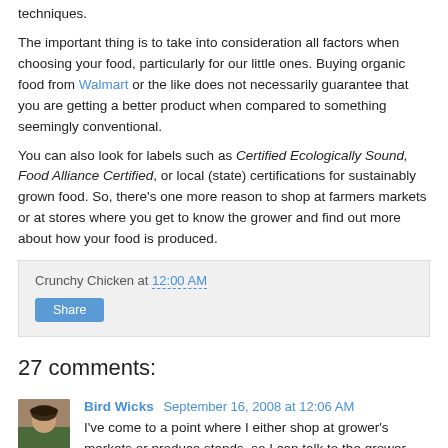techniques.
The important thing is to take into consideration all factors when choosing your food, particularly for our little ones. Buying organic food from Walmart or the like does not necessarily guarantee that you are getting a better product when compared to something seemingly conventional.
You can also look for labels such as Certified Ecologically Sound, Food Alliance Certified, or local (state) certifications for sustainably grown food. So, there's one more reason to shop at farmers markets or at stores where you get to know the grower and find out more about how your food is produced.
Crunchy Chicken at 12:00 AM
Share
27 comments:
Bird Wicks  September 16, 2008 at 12:06 AM
I've come to a point where I either shop at grower's markets or produce stands, so I can talk to the grower direct or